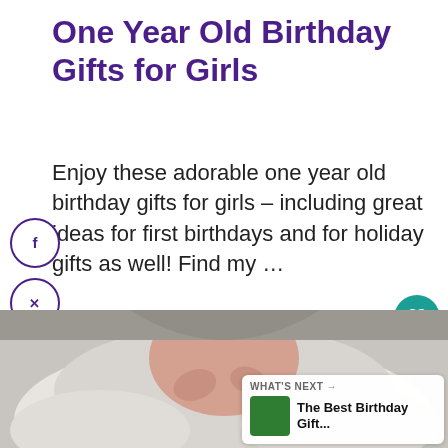One Year Old Birthday Gifts for Girls
Enjoy these adorable one year old birthday gifts for girls – including great ideas for first birthdays and for holiday gifts as well! Find my …
[Figure (photo): Close-up photo of a young baby bundled in a white fluffy coat, hands near face, eyes partially open]
WHAT'S NEXT → The Best Birthday Gift...